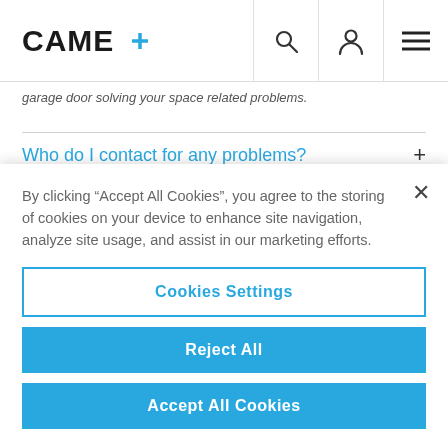CAME [logo] [search icon] [user icon] [menu icon]
garage door solving your space related problems.
Who do I contact for any problems?
How do I exercise my warranty rights?
By clicking “Accept All Cookies”, you agree to the storing of cookies on your device to enhance site navigation, analyze site usage, and assist in our marketing efforts.
Cookies Settings
Reject All
Accept All Cookies